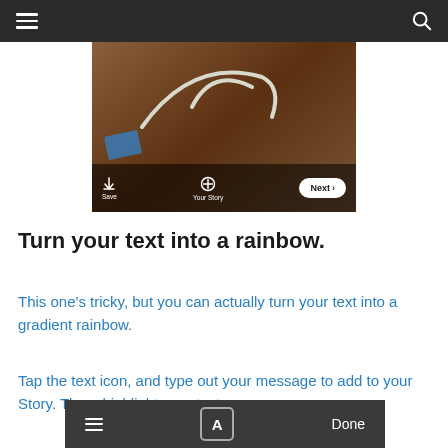[Figure (screenshot): Instagram Stories interface showing a photo of a brown leaf/wood surface with a blue card and white cord, with Save, Your Story, and Next buttons at the bottom]
Turn your text into a rainbow.
This one’s tricky, but you can actually turn your text into a gradient rainbow.
Tap the text icon, and type out your message to add to your Story. Then, highlight your text.
[Figure (screenshot): Instagram Stories text editing toolbar with hamburger menu, A icon, and Done button on dark background]